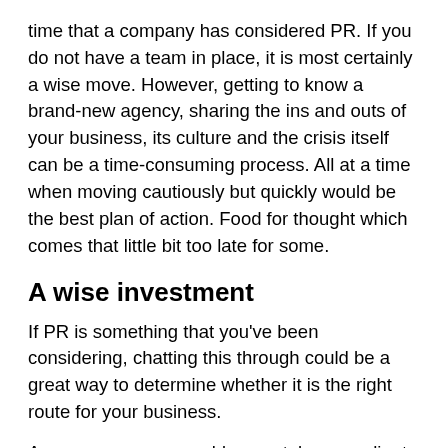time that a company has considered PR. If you do not have a team in place, it is most certainly a wise move. However, getting to know a brand-new agency, sharing the ins and outs of your business, its culture and the crisis itself can be a time-consuming process. All at a time when moving cautiously but quickly would be the best plan of action. Food for thought which comes that little bit too late for some.
A wise investment
If PR is something that you've been considering, chatting this through could be a great way to determine whether it is the right route for your business.
As an agency, we would never take on a client if we didn't genuinely believe that we were right for you. Our passion and enjoyment comes from securing results, so we firmly believe in being honest and upfront about what we can